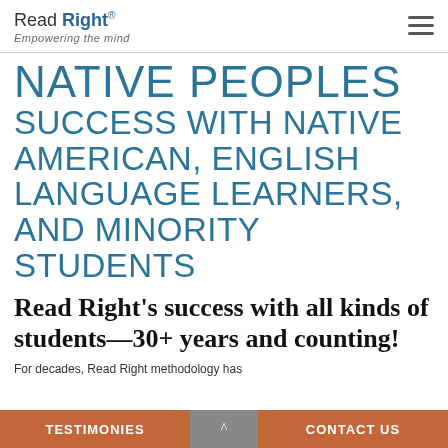Read Right® Empowering the mind
NATIVE PEOPLES
SUCCESS WITH NATIVE AMERICAN, ENGLISH LANGUAGE LEARNERS, AND MINORITY STUDENTS
Read Right's success with all kinds of students—30+ years and counting!
For decades, Read Right methodology has